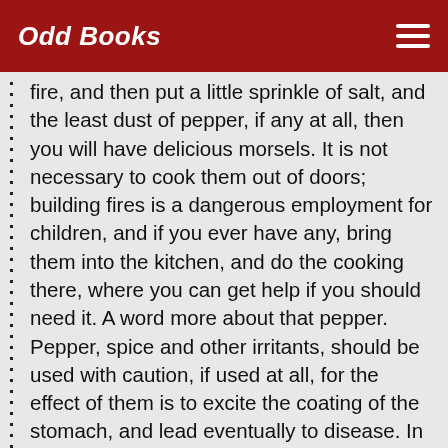Odd Books
fire, and then put a little sprinkle of salt, and the least dust of pepper, if any at all, then you will have delicious morsels. It is not necessary to cook them out of doors; building fires is a dangerous employment for children, and if you ever have any, bring them into the kitchen, and do the cooking there, where you can get help if you should need it. A word more about that pepper. Pepper, spice and other irritants, should be used with caution, if used at all, for the effect of them is to excite the coating of the stomach, and lead eventually to disease. In concluding about the battery alluded to, it is capable of producing great quantities of electricity; there is a positive pole and a negative pole,—the positive pole attracts a negative pole, and a negative pole attracts a